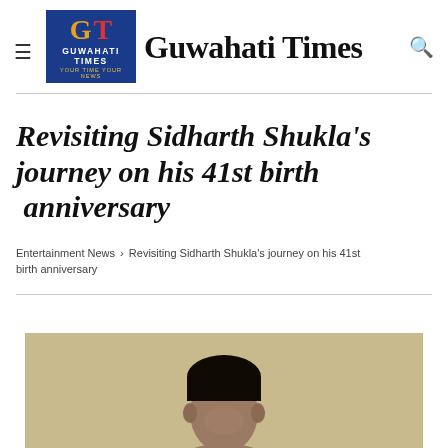Guwahati Times
Revisiting Sidharth Shukla's journey on his 41st birth anniversary
Entertainment News › Revisiting Sidharth Shukla's journey on his 41st birth anniversary
[Figure (photo): Photo of Sidharth Shukla, partial view showing head and upper body against a beige/tan background]